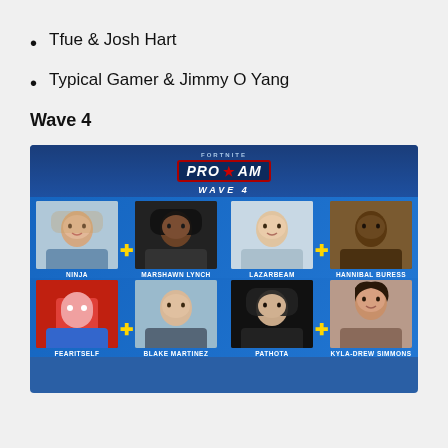Tfue & Josh Hart
Typical Gamer & Jimmy O Yang
Wave 4
[Figure (photo): Fortnite Pro-AM Wave 4 announcement graphic showing 8 participants in two rows: top row Ninja, Marshawn Lynch, LazarBeam, Hannibal Buress; bottom row FearItSelf, Blake Martinez, Pathota, Kyla-Drew Simmons. Participants are paired with yellow plus signs between each duo.]